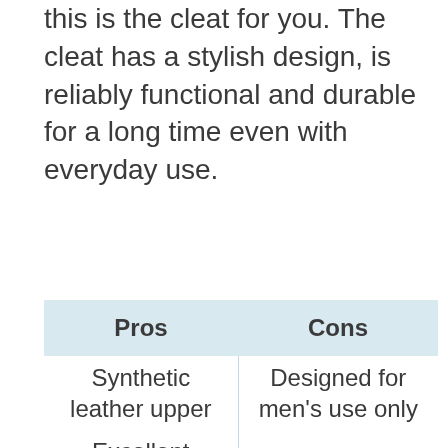this is the cleat for you. The cleat has a stylish design, is reliably functional and durable for a long time even with everyday use.
| Pros | Cons |
| --- | --- |
| Synthetic leather upper | Designed for men's use only |
| Excellent durability |  |
| Incredible feel and comfort |  |
| Powerful ankle support |  |
| 3D... |  |